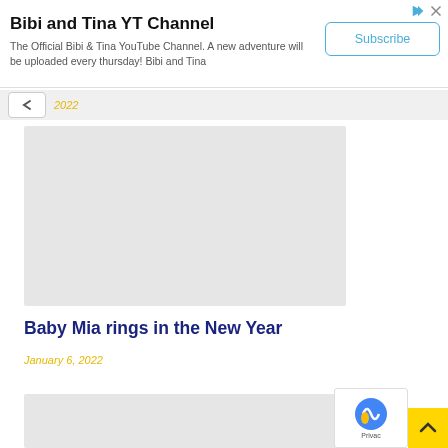[Figure (infographic): Advertisement banner for Bibi and Tina YT Channel with title, description, and Subscribe button]
Bibi and Tina YT Channel
The Official Bibi & Tina YouTube Channel. A new adventure will be uploaded every thursday! Bibi and Tina
2022
[Figure (photo): Video thumbnail placeholder (grey rectangle)]
Baby Mia rings in the New Year
January 6, 2022
[Figure (photo): Second video thumbnail placeholder (grey rectangle)]